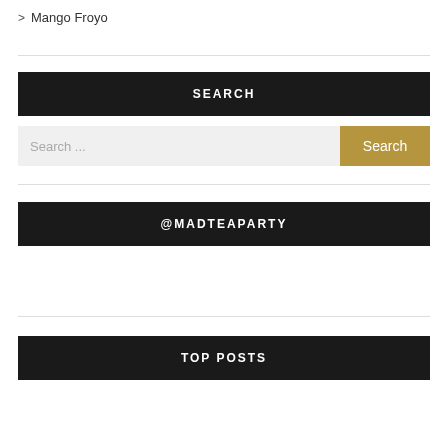> Mango Froyo
SEARCH
Search ...
@MADTEAPARTY
TOP POSTS